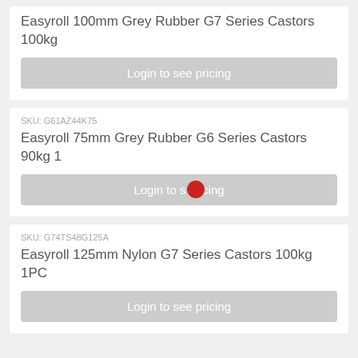Easyroll 100mm Grey Rubber G7 Series Castors 100kg
Login to see pricing
SKU: G61AZ44K75
Easyroll 75mm Grey Rubber G6 Series Castors 90kg 1
Login to see pricing
SKU: G74TS48G125A
Easyroll 125mm Nylon G7 Series Castors 100kg 1PC
Login to see pricing